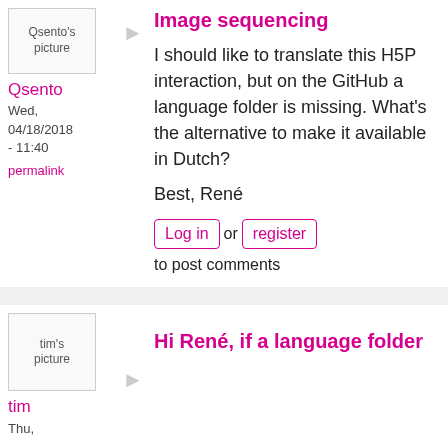[Figure (photo): Qsento's profile picture placeholder]
Qsento
Wed, 04/18/2018 - 11:40
permalink
Image sequencing
I should like to translate this H5P interaction, but on the GitHub a language folder is missing. What's the alternative to make it available in Dutch?
Best, René
Log in or register to post comments
[Figure (photo): tim's profile picture placeholder]
tim
Thu,
Hi René, if a language folder